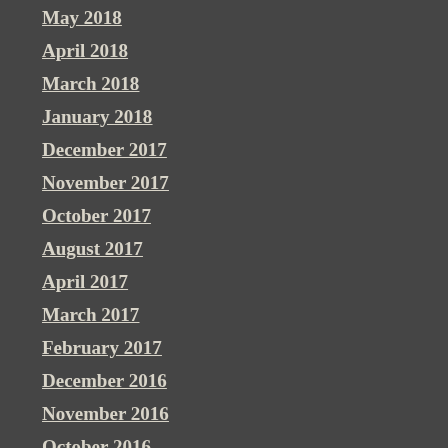May 2018
April 2018
March 2018
January 2018
December 2017
November 2017
October 2017
August 2017
April 2017
March 2017
February 2017
December 2016
November 2016
October 2016
September 2016